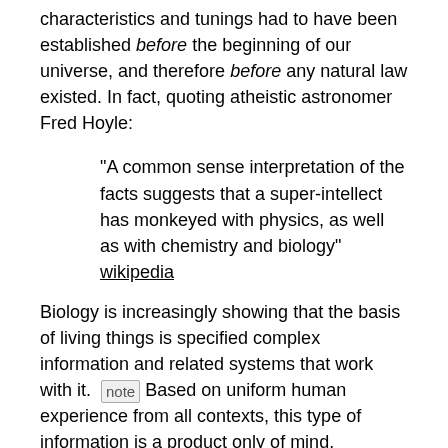characteristics and tunings had to have been established before the beginning of our universe, and therefore before any natural law existed. In fact, quoting atheistic astronomer Fred Hoyle:
"A common sense interpretation of the facts suggests that a super-intellect has monkeyed with physics, as well as with chemistry and biology" wikipedia
Biology is increasingly showing that the basis of living things is specified complex information and related systems that work with it. [note] Based on uniform human experience from all contexts, this type of information is a product only of mind. Therefore for both the universe and for life, a creative mind with intellect and reason is the only known explanation for what we observe.
In this newer context, law-like explanations can become quite inadequate. Laws are insufficient to explain aspects of the working of mind (e.g. creativity). This inadequacy is a problem for those that only will accept law-like naturalistic